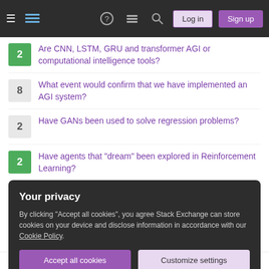Stack Exchange navigation bar with hamburger menu, logo, help, chat, search icons, Log in and Sign up buttons
2 — Are CNN, LSTM, GRU and transformer AGI or computational intelligence tools?
8 — What event would confirm that we have implemented an AGI system?
2 — Have GANs been used to solve regression problems?
2 — Have agents that "dream" been explored in Reinforcement Learning?
1 — What consequence would a polynomial time algorithm for SAT have on AGI?
Hot Network Questions
Your privacy
By clicking "Accept all cookies", you agree Stack Exchange can store cookies on your device and disclose information in accordance with our Cookie Policy.
Accept all cookies | Customize settings
Decompose math mode string with expls